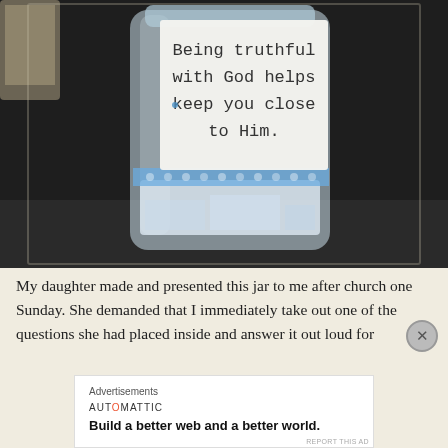[Figure (photo): A glass jar with a white paper label taped to it. The handwritten label reads: 'Being truthful with God helps keep you close to Him.' The jar has decorative washi tape with a blue floral pattern around its middle, and folded papers inside.]
My daughter made and presented this jar to me after church one Sunday. She demanded that I immediately take out one of the questions she had placed inside and answer it out loud for
Advertisements
AUTOMATTIC
Build a better web and a better world.